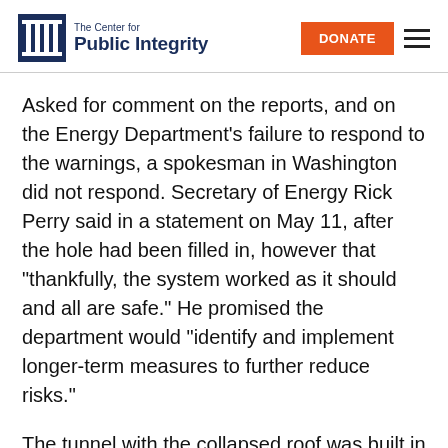The Center for Public Integrity
Asked for comment on the reports, and on the Energy Department’s failure to respond to the warnings, a spokesman in Washington did not respond. Secretary of Energy Rick Perry said in a statement on May 11, after the hole had been filled in, however that “thankfully, the system worked as it should and all are safe.” He promised the department would “identify and implement longer-term measures to further reduce risks.”
The tunnel with the collapsed roof was built in 1956 over a rail spur that extended 350 feet south from the east end of the complex’s massive